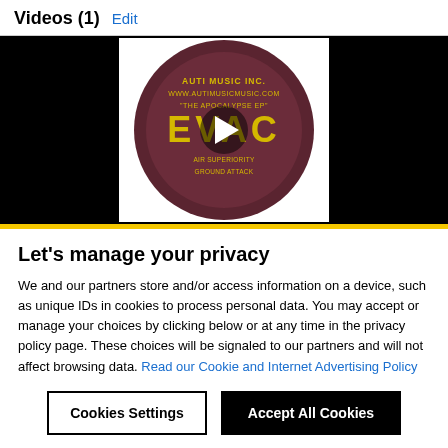Videos (1)  Edit
[Figure (screenshot): Video thumbnail showing a vinyl record disc for AUTI MUSIC INC. 'THE APOCALYPSE EP' EVAC, with a play button overlay, on a black background.]
Let's manage your privacy
We and our partners store and/or access information on a device, such as unique IDs in cookies to process personal data. You may accept or manage your choices by clicking below or at any time in the privacy policy page. These choices will be signaled to our partners and will not affect browsing data. Read our Cookie and Internet Advertising Policy